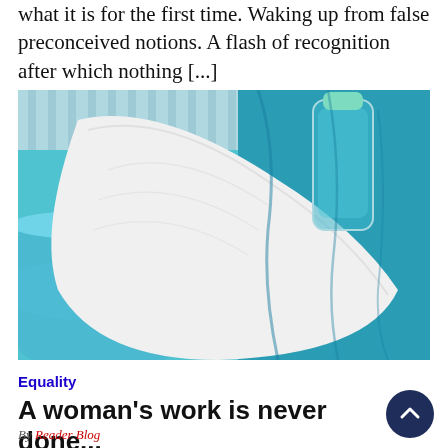what it is for the first time. Waking up from false preconceived notions. A flash of recognition after which nothing [...]
[Figure (photo): Close-up photo of white laundry towel or cloth in a blue laundry basket with a bottle of blue liquid detergent in the background.]
Equality
A woman's work is never done...
By Reader Blog